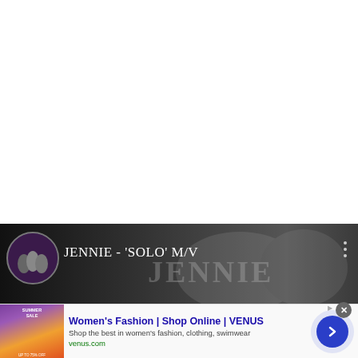[Figure (screenshot): White empty area at the top of a web page]
[Figure (screenshot): YouTube video thumbnail for JENNIE - 'SOLO' M/V, dark grayscale background with JENNIE text watermark, circular avatar with group photo on left, three-dot menu icon on right]
[Figure (screenshot): Advertisement banner for Women's Fashion | Shop Online | VENUS, showing a summer sale image on the left, ad text in the middle, and a blue arrow button on the right. URL shown: venus.com]